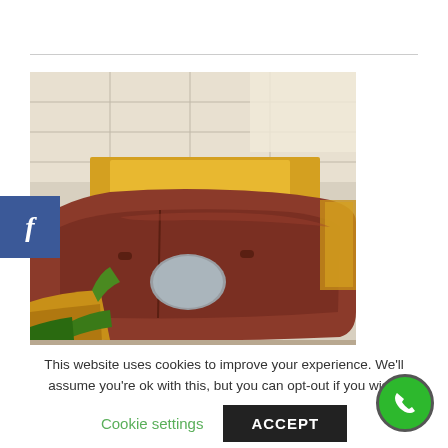[Figure (photo): A car being prepared for painting in an auto body shop. The vehicle's door panels are exposed showing reddish-brown primer/bare metal, with a circular sanded spot. The car is partially covered with gold/amber masking paper and green masking tape. The background shows a bright paint booth ceiling.]
This website uses cookies to improve your experience. We'll assume you're ok with this, but you can opt-out if you wish.
Cookie settings
ACCEPT